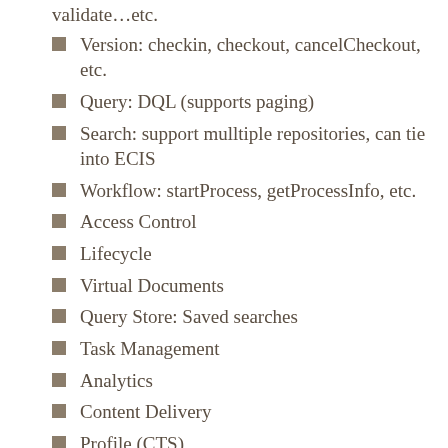validate…etc.
Version: checkin, checkout, cancelCheckout, etc.
Query: DQL (supports paging)
Search: support mulltiple repositories, can tie into ECIS
Workflow: startProcess, getProcessInfo, etc.
Access Control
Lifecycle
Virtual Documents
Query Store: Saved searches
Task Management
Analytics
Content Delivery
Profile (CTS)
Transformation
Policy: apply, remove, getAppliedPolicies, etc. (Retention Policy Services)
Electronic Signature: add, verify
ERP Integration: execute Action, executeAgent,